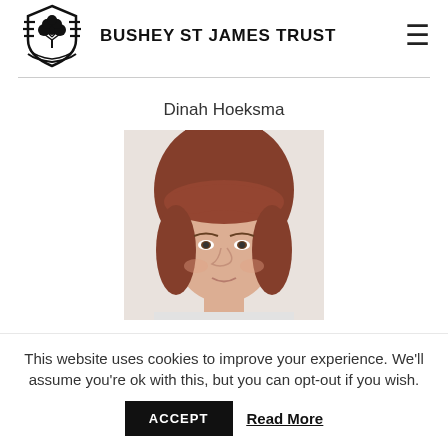BUSHEY ST JAMES TRUST
Dinah Hoeksma
[Figure (photo): Headshot photo of Dinah Hoeksma, a woman with short reddish-brown hair with fringe, looking at the camera]
This website uses cookies to improve your experience. We'll assume you're ok with this, but you can opt-out if you wish.
ACCEPT  Read More